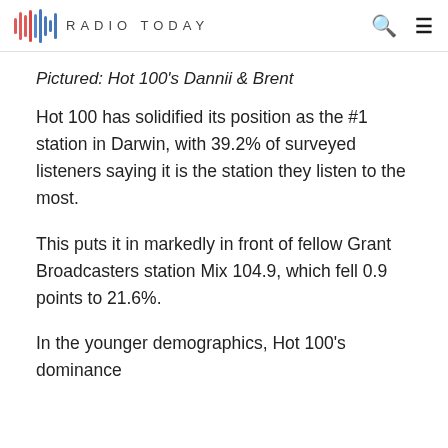RADIO TODAY
Pictured: Hot 100's Dannii & Brent
Hot 100 has solidified its position as the #1 station in Darwin, with 39.2% of surveyed listeners saying it is the station they listen to the most.
This puts it in markedly in front of fellow Grant Broadcasters station Mix 104.9, which fell 0.9 points to 21.6%.
In the younger demographics, Hot 100's dominance…